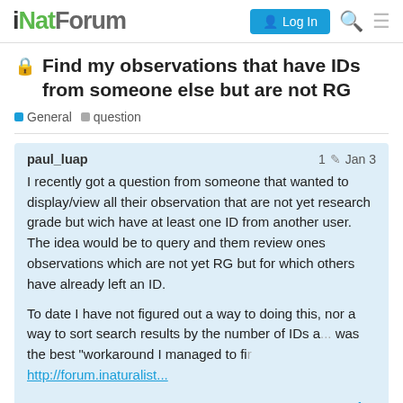iNatForum — Log In
🔒 Find my observations that have IDs from someone else but are not RG
General · question
paul_luap  1 ✏  Jan 3
I recently got a question from someone that wanted to display/view all their observation that are not yet research grade but wich have at least one ID from another user.
The idea would be to query and them review ones observations which are not yet RG but for which others have already left an ID.

To date I have not figured out a way to doing this, nor a way to sort search results by the number of IDs a... was the best "workaround I managed to fi...
http://forum.inaturalist...
1 / 9